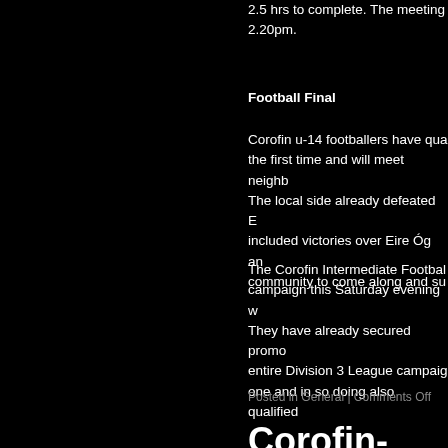2.5 hrs to complete. The meeting 2.20pm.
Football Final
Corofin u-14 footballers have qualified for the first time and will meet neighbours. The local side already defeated E included victories over Eire Óg and community to come along and su
The Corofin Intermediate Football campaign this Saturday evening w They have already secured promo entire Division 3 League campaign one and in so doing also qualified
Posted in General | Comments Off
Corofin-Kilnabo July 16th.